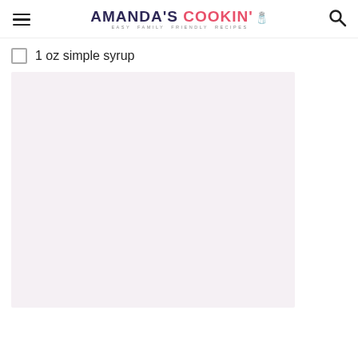AMANDA'S COOKIN' — EASY FAMILY FRIENDLY RECIPES
1 oz simple syrup
[Figure (photo): A light pinkish-lavender colored image placeholder area, possibly a food or drink photo that is loading or cropped.]